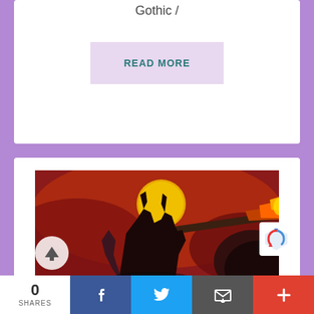Gothic /
READ MORE
[Figure (illustration): Fantasy artwork showing a dark monster/warrior creature wielding a flaming weapon against a dramatic red sky with a large golden moon in the background]
Iron Savior : “Kill Or Get Killed” (
0
SHARES